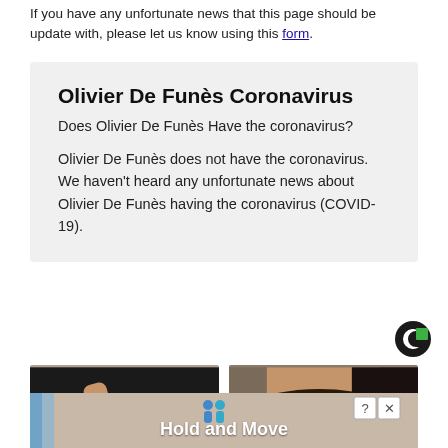If you have any unfortunate news that this page should be update with, please let us know using this form.
Olivier De Funès Coronavirus
Does Olivier De Funès Have the coronavirus?
Olivier De Funès does not have the coronavirus. We haven't heard any unfortunate news about Olivier De Funès having the coronavirus (COVID-19).
[Figure (logo): Circular logo with green square accent on dark circle]
[Figure (photo): Left photo: hand stirring something in a bowl or pan]
[Figure (photo): Right photo: close-up of a woman's face]
[Figure (screenshot): Ad banner at bottom: Hold and Move with cartoon people icons and close button]